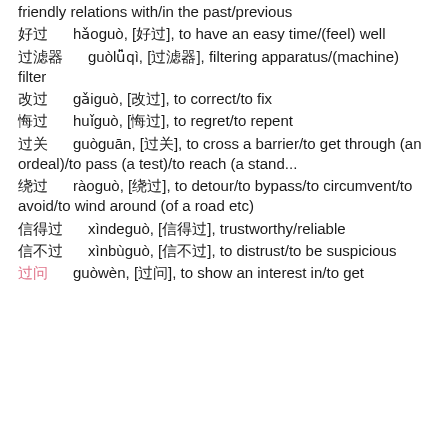friendly relations with/in the past/previous
好过　　hǎoguò, [好过], to have an easy time/(feel) well
过滤器　　guòlǚqì, [过滤器], filtering apparatus/(machine) filter
改过　　gǎiguò, [改过], to correct/to fix
悔过　　huǐguò, [悔过], to regret/to repent
过关　　guòguān, [过关], to cross a barrier/to get through (an ordeal)/to pass (a test)/to reach (a stand...
绕过　　ràoguò, [绕过], to detour/to bypass/to circumvent/to avoid/to wind around (of a road etc)
信得过　　xìndeguò, [信得过], trustworthy/reliable
信不过　　xìnbùguò, [信不过], to distrust/to be suspicious
过问　　guòwèn, [过问], to show an interest in/to get